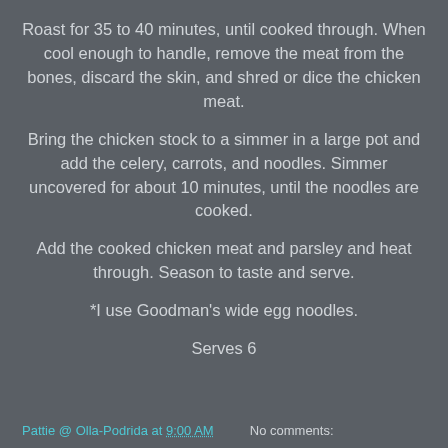Roast for 35 to 40 minutes, until cooked through. When cool enough to handle, remove the meat from the bones, discard the skin, and shred or dice the chicken meat.
Bring the chicken stock to a simmer in a large pot and add the celery, carrots, and noodles. Simmer uncovered for about 10 minutes, until the noodles are cooked.
Add the cooked chicken meat and parsley and heat through. Season to taste and serve.
*I use Goodman’s wide egg noodles.
Serves 6
Pattie @ Olla-Podrida at 9:00 AM     No comments: